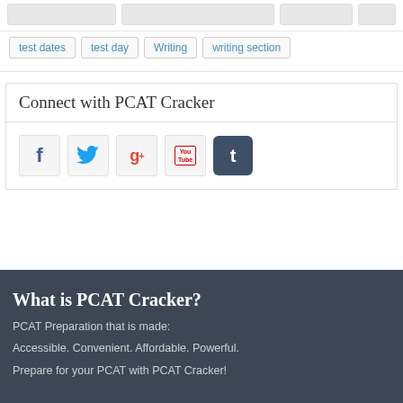test dates  test day  Writing  writing section
Connect with PCAT Cracker
[Figure (infographic): Social media icons: Facebook (f), Twitter (bird), Google+ (g+), YouTube (You Tube), Tumblr (t)]
What is PCAT Cracker?
PCAT Preparation that is made:
Accessible. Convenient. Affordable. Powerful.
Prepare for your PCAT with PCAT Cracker!